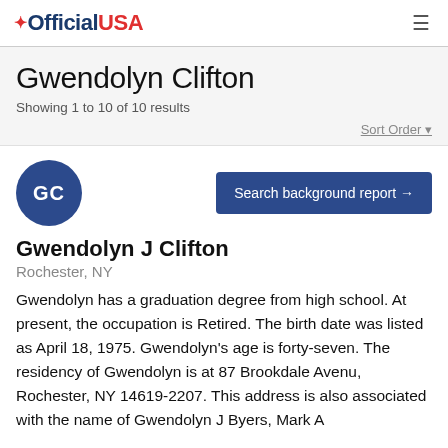OfficialUSA
Gwendolyn Clifton
Showing 1 to 10 of 10 results
Sort Order
[Figure (other): Avatar circle with initials GC in dark blue]
Search background report →
Gwendolyn J Clifton
Rochester, NY
Gwendolyn has a graduation degree from high school. At present, the occupation is Retired. The birth date was listed as April 18, 1975. Gwendolyn's age is forty-seven. The residency of Gwendolyn is at 87 Brookdale Avenu, Rochester, NY 14619-2207. This address is also associated with the name of Gwendolyn J Byers, Mark A